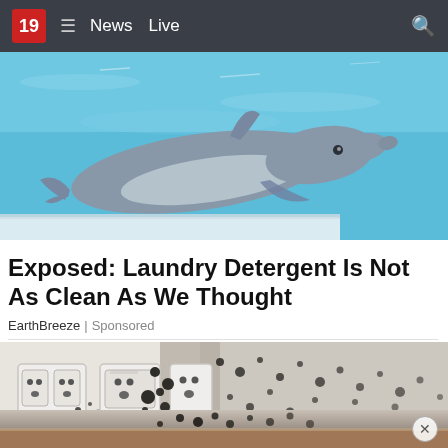19  ≡  News  Live
[Figure (photo): A dolphin swimming underwater, viewed from the side, with blue water and a white ledge visible.]
Exposed: Laundry Detergent Is Not As Clean As We Thought
EarthBreeze | Sponsored
[Figure (photo): A white wall with three electrical outlets covered in black mold spots spreading from floor level upward. The bottom of the image shows a wood floor.]